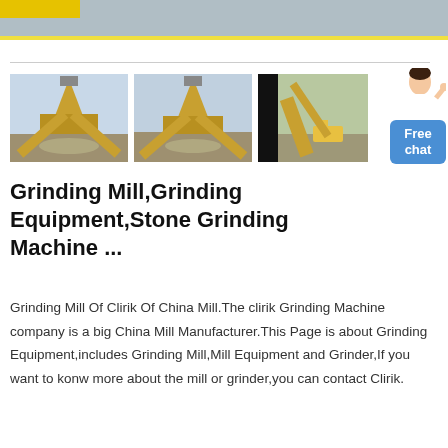[Figure (photo): Three photos of grinding mill / stone crushing industrial equipment machinery outdoors]
Grinding Mill,Grinding Equipment,Stone Grinding Machine ...
Grinding Mill Of Clirik Of China Mill.The clirik Grinding Machine company is a big China Mill Manufacturer.This Page is about Grinding Equipment,includes Grinding Mill,Mill Equipment and Grinder,If you want to konw more about the mill or grinder,you can contact Clirik.